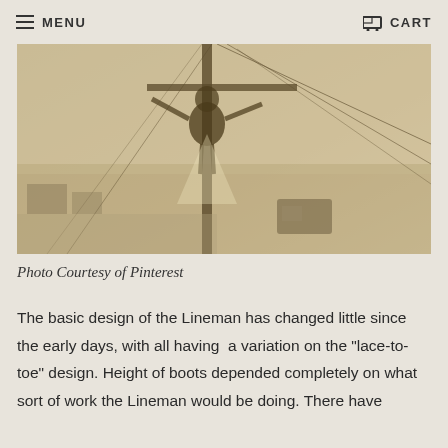MENU   CART
[Figure (illustration): Sepia-toned illustration of a lineman working at the top of a utility pole, with power lines and aerial view of street below, a truck visible in the background.]
Photo Courtesy of Pinterest
The basic design of the Lineman has changed little since the early days, with all having  a variation on the "lace-to-toe" design. Height of boots depended completely on what sort of work the Lineman would be doing. There have